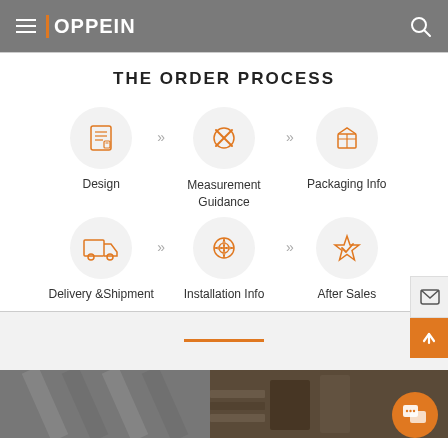OPPEIN
THE ORDER PROCESS
[Figure (infographic): Order process flowchart with 6 steps in 2 rows: Design, Measurement Guidance, Packaging Info (row 1); Delivery & Shipment, Installation Info, After Sales (row 2). Each step shown as an icon in a light grey circle with orange line-art icons, connected by double chevron arrows.]
[Figure (photo): Bottom strip showing interior/wardrobe product photography in dark tones]